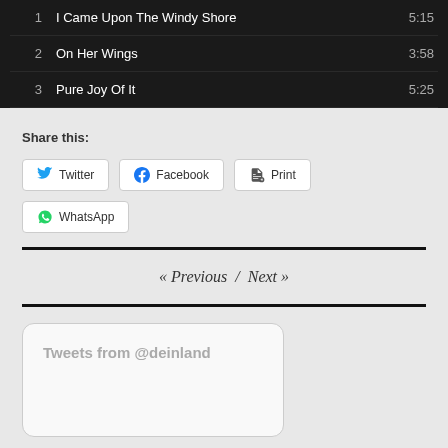| # | Title | Duration |
| --- | --- | --- |
| 1 | I Came Upon The Windy Shore | 5:15 |
| 2 | On Her Wings | 3:58 |
| 3 | Pure Joy Of It | 5:25 |
Share this:
Twitter
Facebook
Print
WhatsApp
« Previous  /  Next »
Tweets from @deinland